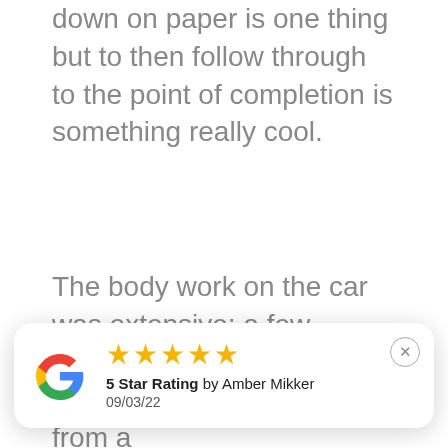down on paper is one thing but to then follow through to the point of completion is something really cool.
The body work on the car was extensive; a few months earlier the civic copped a kick in the rear from a
[Figure (infographic): Google review card with 5 star rating by Amber Mikker dated 09/03/22, featuring the Google G logo and a close button]
attention. The rear bar, tail lights and